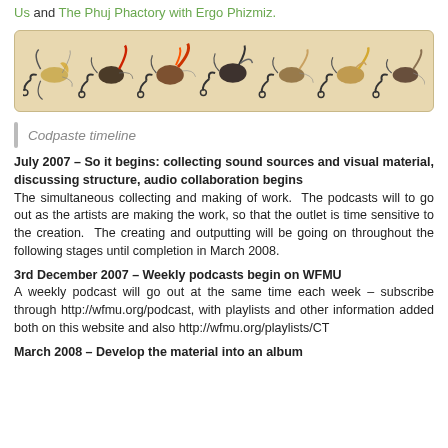Us and The Phuj Phactory with Ergo Phizmiz.
[Figure (photo): Row of fishing flies on a beige/tan background, showing various colorful tied fishing lure flies arranged in a horizontal line.]
Codpaste timeline
July 2007 – So it begins: collecting sound sources and visual material, discussing structure, audio collaboration begins
The simultaneous collecting and making of work. The podcasts will to go out as the artists are making the work, so that the outlet is time sensitive to the creation. The creating and outputting will be going on throughout the following stages until completion in March 2008.
3rd December 2007 – Weekly podcasts begin on WFMU
A weekly podcast will go out at the same time each week – subscribe through http://wfmu.org/podcast, with playlists and other information added both on this website and also http://wfmu.org/playlists/CT
March 2008 – Develop the material into an album